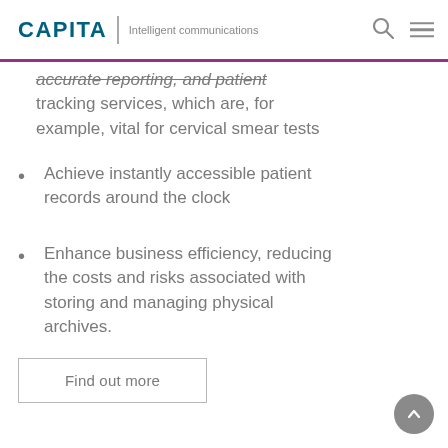CAPITA | Intelligent communications
accurate reporting, and patient tracking services, which are, for example, vital for cervical smear tests
Achieve instantly accessible patient records around the clock
Enhance business efficiency, reducing the costs and risks associated with storing and managing physical archives.
Find out more